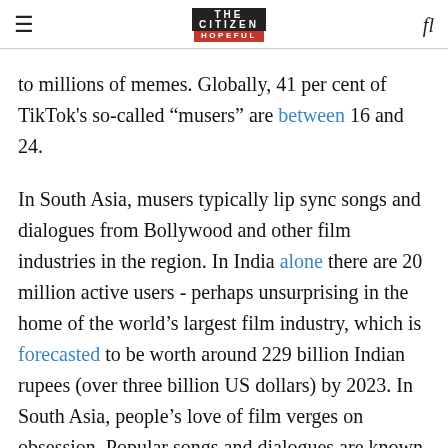THE CITIZEN HOPEFUL
to millions of memes. Globally, 41 per cent of TikTok's so-called “musers” are between 16 and 24.
In South Asia, musers typically lip sync songs and dialogues from Bollywood and other film industries in the region. In India alone there are 20 million active users - perhaps unsurprising in the home of the world’s largest film industry, which is forecasted to be worth around 229 billion Indian rupees (over three billion US dollars) by 2023. In South Asia, people’s love of film verges on obsession. Popular songs and dialogues are known by heart, and actors are worshipped like gods. Many young